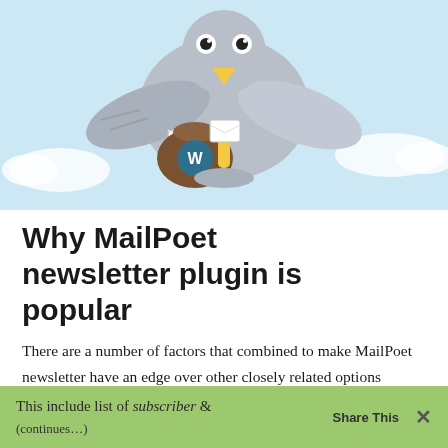[Figure (illustration): Cartoon bird/pigeon carrying a mail bag with letters and a WordPress logo, set against a light blue sky background]
Why MailPoet newsletter plugin is popular
There are a number of factors that combined to make MailPoet newsletter have an edge over other closely related options among such factors are:
– Easy accessibility: The fact that you can manage everything about your email marketing right within the WP dashboard.
This include list of subscriber & (continues below green bar)